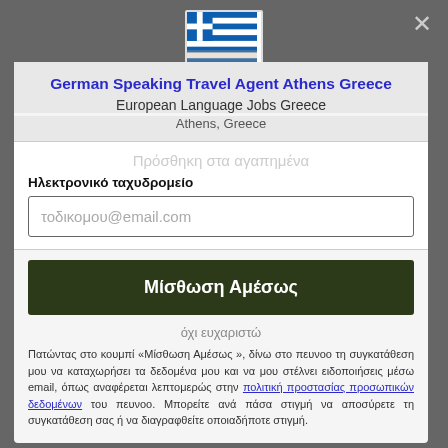[Figure (illustration): Greek flag image in a white bordered box]
German Speaking Travel Agent Athens Greece
European Language Jobs Greece
Athens, Greece
Πρόσθηκη στα αγαπημένα
Ηλεκτρονικό ταχυδρομείο
τοδικομου@email.com
Μίσθωση Αμέσως
όχι ευχαριστώ
Πατώντας στο κουμπί «Μίσθωση Αμέσως », δίνω στο πευνοο τη συγκατάθεση μου να καταχωρήσει τα δεδομένα μου και να μου στέλνει ειδοποιήσεις μέσω email, όπως αναφέρεται λεπτομερώς στην πολιτική προστασίας προσωπικών δεδομένων του πευνοο. Μπορείτε ανά πάσα στιγμή να αποσύρετε τη συγκατάθεση σας ή να διαγραφθείτε οποιαδήποτε στιγμή.